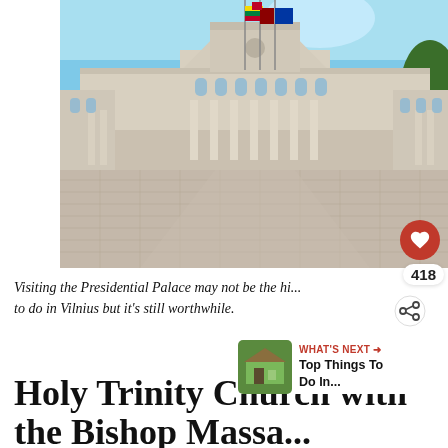[Figure (photo): A large neoclassical building — the Presidential Palace in Vilnius — with white columns and arched windows. Three flags fly in front (Lithuanian, EU, and another). A wide open cobblestone plaza extends in the foreground. Clear blue sky backdrop with trees visible on the right.]
Visiting the Presidential Palace may not be the hi… to do in Vilnius but it's still worthwhile.
Holy Trinity Church with the Bishop Massa...